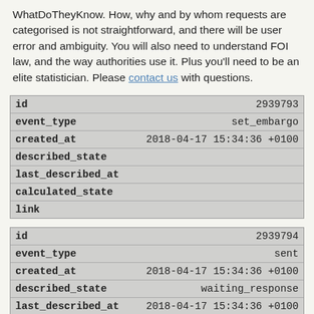WhatDoTheyKnow. How, why and by whom requests are categorised is not straightforward, and there will be user error and ambiguity. You will also need to understand FOI law, and the way authorities use it. Plus you'll need to be an elite statistician. Please contact us with questions.
| id | 2939793 |
| --- | --- |
| event_type | set_embargo |
| created_at | 2018-04-17 15:34:36 +0100 |
| described_state |  |
| last_described_at |  |
| calculated_state |  |
| link |  |
| id | 2939794 |
| --- | --- |
| event_type | sent |
| created_at | 2018-04-17 15:34:36 +0100 |
| described_state | waiting_response |
| last_described_at | 2018-04-17 15:34:36 +0100 |